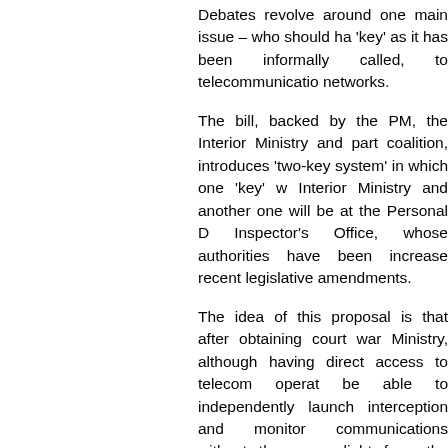Debates revolve around one main issue – who should ha 'key' as it has been informally called, to telecommunicatio networks.
The bill, backed by the PM, the Interior Ministry and part coalition, introduces 'two-key system' in which one 'key' w Interior Ministry and another one will be at the Personal D Inspector's Office, whose authorities have been increase recent legislative amendments.
The idea of this proposal is that after obtaining court war Ministry, although having direct access to telecom operat be able to independently launch interception and monitor communications without the green light from the Persona Inspector. Under this system, the existence of two 'keys' their holders would be able to separately gain access. It Interior Ministry cannot alone gain access and the Perso Inspector's Office would be needed to complement the fi ministry.
It will also require empowering personal data protection a relevant technical capabilities, which, according to the bi before March 1, 2015, and the bill itself, introducing 'two- also go into force from this date.
This bill is likely to attract support most of the lawmakers